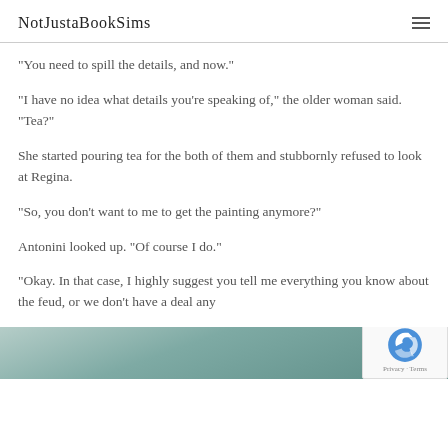NotJustaBookSims
“You need to spill the details, and now.”
“I have no idea what details you’re speaking of,” the older woman said. “Tea?”
She started pouring tea for the both of them and stubbornly refused to look at Regina.
“So, you don’t want to me to get the painting anymore?”
Antonini looked up. “Of course I do.”
“Okay. In that case, I highly suggest you tell me everything you know about the feud, or we don’t have a deal any…
[Figure (photo): Partial image of a painting in an ornate frame, with teal/green decorative background visible]